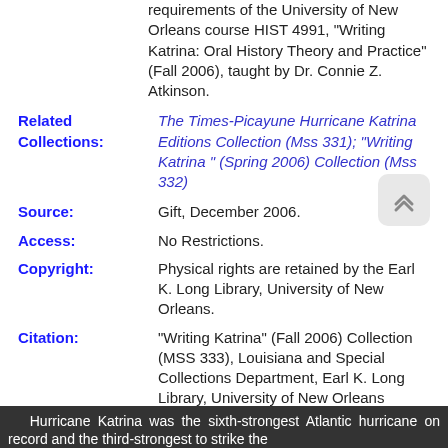requirements of the University of New Orleans course HIST 4991, “Writing Katrina: Oral History Theory and Practice” (Fall 2006), taught by Dr. Connie Z. Atkinson.
Related Collections: The Times-Picayune Hurricane Katrina Editions Collection (Mss 331); “Writing Katrina ” (Spring 2006) Collection (Mss 332)
Source: Gift, December 2006.
Access: No Restrictions.
Copyright: Physical rights are retained by the Earl K. Long Library, University of New Orleans.
Citation: “Writing Katrina” (Fall 2006) Collection (MSS 333), Louisiana and Special Collections Department, Earl K. Long Library, University of New Orleans
Historical Note
Hurricane Katrina was the sixth-strongest Atlantic hurricane on record and the third-strongest to strike the